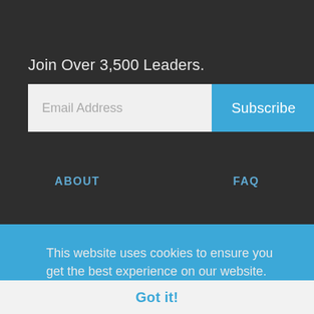Join Over 3,500 Leaders.
Email Address
Subscribe
ABOUT
FAQ
This website uses cookies to ensure you get the best experience on our website.
Learn more
Got it!